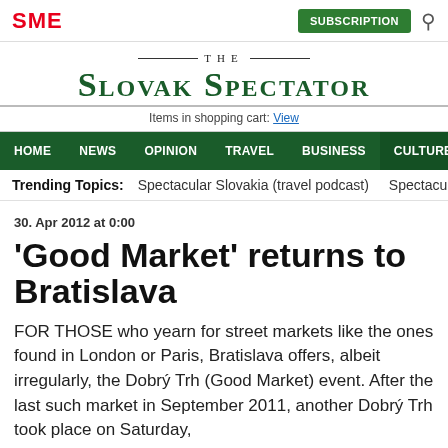SME | SUBSCRIPTION
THE SLOVAK SPECTATOR
Items in shopping cart: View
HOME NEWS OPINION TRAVEL BUSINESS CULTURE ≡ MENU 🔍
Trending Topics: Spectacular Slovakia (travel podcast) Spectacular Slo
30. Apr 2012 at 0:00
'Good Market' returns to Bratislava
FOR THOSE who yearn for street markets like the ones found in London or Paris, Bratislava offers, albeit irregularly, the Dobrý Trh (Good Market) event. After the last such market in September 2011, another Dobrý Trh took place on Saturday,